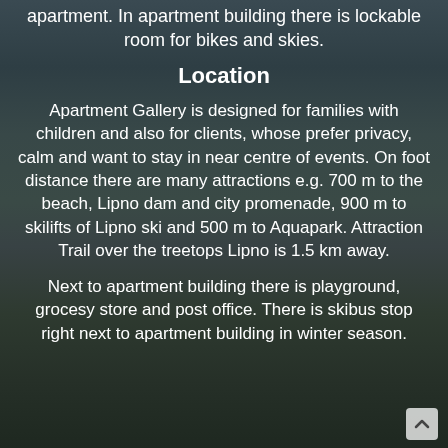apartment. In apartment building there is lockable room for bikes and skies.
Location
Apartment Gallery is designed for families with children and also for clients, whose prefer privacy, calm and want to stay in near centre of events. On foot distance there are many attractions e.g. 700 m to the beach, Lipno dam and city promenade, 900 m to skilifts of Lipno ski and 500 m to Aquapark. Attraction Trail over the treetops Lipno is 1.5 km away.
Next to apartment building there is playground, grocesy store and post office. There is skibus stop right next to apartment building in winter season.